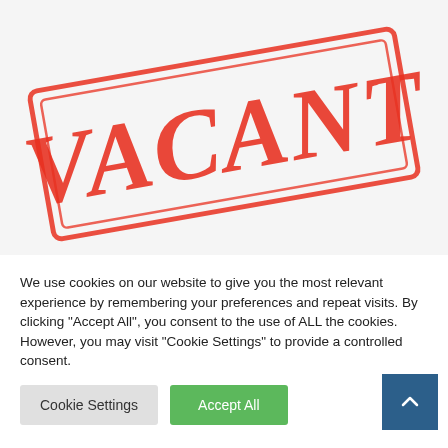[Figure (illustration): A red rubber stamp reading 'VACANT' in large bold serif letters, rotated slightly clockwise, with a red rectangular border. The stamp appears on a white background.]
We use cookies on our website to give you the most relevant experience by remembering your preferences and repeat visits. By clicking "Accept All", you consent to the use of ALL the cookies. However, you may visit "Cookie Settings" to provide a controlled consent.